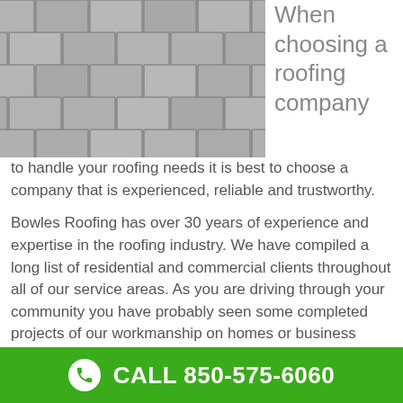[Figure (photo): Close-up photo of grey roof shingles/tiles arranged in a diagonal pattern]
When choosing a roofing company to handle your roofing needs it is best to choose a company that is experienced, reliable and trustworthy.
Bowles Roofing has over 30 years of experience and expertise in the roofing industry.  We have compiled a long list of residential and commercial clients throughout all of our service areas.  As you are driving through your community you have probably seen some completed projects of our workmanship on homes or business structures.  Our commercial roofing clients include businesses such as restaurants, fast food chains, schools, colleges
CALL 850-575-6060